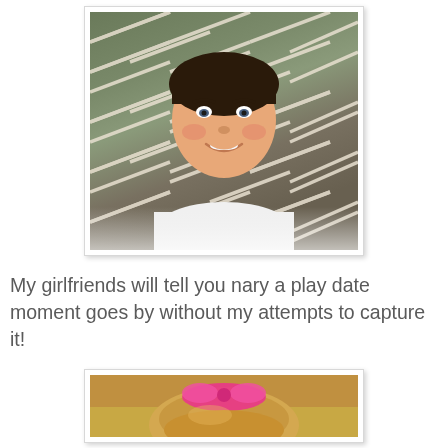[Figure (photo): A young boy with dark hair smiling at the camera, lying on or near a rope net/hammock, wearing a white t-shirt. Photo has a slightly vintage/filtered look with a white border/frame.]
My girlfriends will tell you nary a play date moment goes by without my attempts to capture it!
[Figure (photo): Partial photo of a young girl with blonde hair wearing a bright pink headband/bow, outdoors. Only the top portion of the child is visible as the image is cropped at the bottom of the page.]